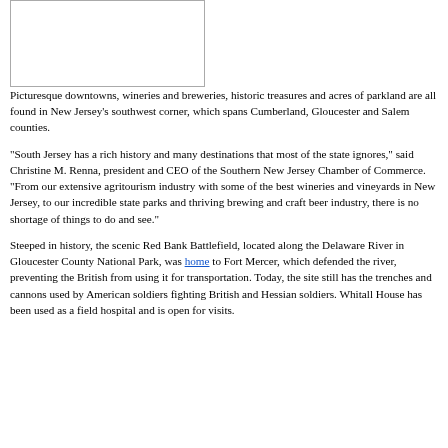[Figure (photo): Image placeholder in upper left corner]
Picturesque downtowns, wineries and breweries, historic treasures and acres of parkland are all found in New Jersey's southwest corner, which spans Cumberland, Gloucester and Salem counties.
“South Jersey has a rich history and many destinations that most of the state ignores,” said Christine M. Renna, president and CEO of the Southern New Jersey Chamber of Commerce. “From our extensive agritourism industry with some of the best wineries and vineyards in New Jersey, to our incredible state parks and thriving brewing and craft beer industry, there is no shortage of things to do and see.”
Steeped in history, the scenic Red Bank Battlefield, located along the Delaware River in Gloucester County National Park, was home to Fort Mercer, which defended the river, preventing the British from using it for transportation. Today, the site still has the trenches and cannons used by American soldiers fighting British and Hessian soldiers. Whitall House has been used as a field hospital and is open for visits.